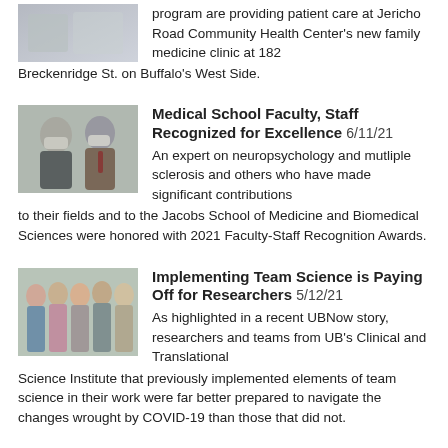… residents from the Family Medicine Residency program are providing patient care at Jericho Road Community Health Center's new family medicine clinic at 182 Breckenridge St. on Buffalo's West Side.
[Figure (photo): Photo of two masked individuals in a clinical or academic setting]
Medical School Faculty, Staff Recognized for Excellence 6/11/21
An expert on neuropsychology and mutliple sclerosis and others who have made significant contributions to their fields and to the Jacobs School of Medicine and Biomedical Sciences were honored with 2021 Faculty-Staff Recognition Awards.
[Figure (photo): Group photo of researchers/team members standing together]
Implementing Team Science is Paying Off for Researchers 5/12/21
As highlighted in a recent UBNow story, researchers and teams from UB's Clinical and Translational Science Institute that previously implemented elements of team science in their work were far better prepared to navigate the changes wrought by COVID-19 than those that did not.
[Figure (photo): Partial thumbnail photo at bottom of page]